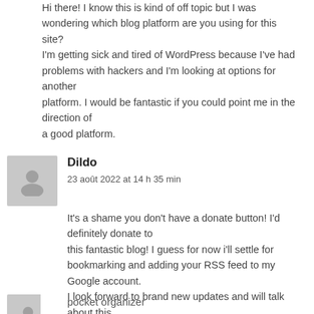Hi there! I know this is kind of off topic but I was wondering which blog platform are you using for this site?
I'm getting sick and tired of WordPress because I've had problems with hackers and I'm looking at options for another
platform. I would be fantastic if you could point me in the direction of
a good platform.
Dildo
23 août 2022 at 14 h 35 min
It's a shame you don't have a donate button! I'd definitely donate to
this fantastic blog! I guess for now i'll settle for bookmarking and adding your RSS feed to my Google account.
I look forward to brand new updates and will talk about this
site with my Facebook group. Chat soon!
pocket organizer